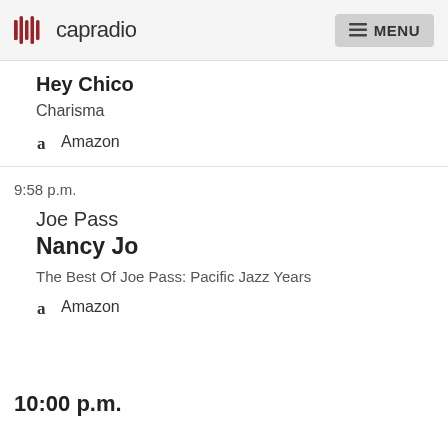capradio MENU
Hey Chico
Charisma
Amazon
9:58 p.m.
Joe Pass
Nancy Jo
The Best Of Joe Pass: Pacific Jazz Years
Amazon
10:00 p.m.